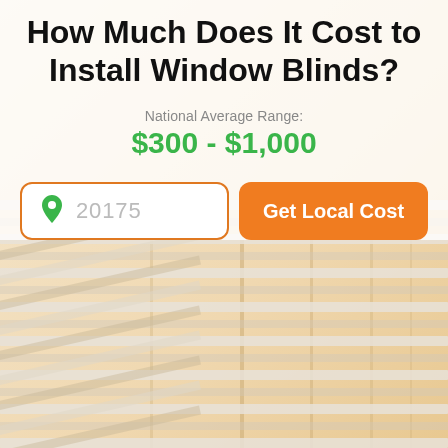[Figure (illustration): Background image of window blinds with warm orange/golden light coming through horizontal slats, partially transparent over bottom portion of page]
How Much Does It Cost to Install Window Blinds?
National Average Range:
$300 - $1,000
20175
Get Local Cost